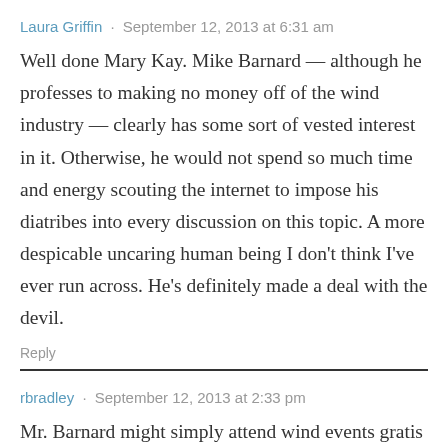Laura Griffin · September 12, 2013 at 6:31 am
Well done Mary Kay. Mike Barnard — although he professes to making no money off of the wind industry — clearly has some sort of vested interest in it. Otherwise, he would not spend so much time and energy scouting the internet to impose his diatribes into every discussion on this topic. A more despicable uncaring human being I don't think I've ever run across. He's definitely made a deal with the devil.
Reply
rbradley · September 12, 2013 at 2:33 pm
Mr. Barnard might simply attend wind events gratis